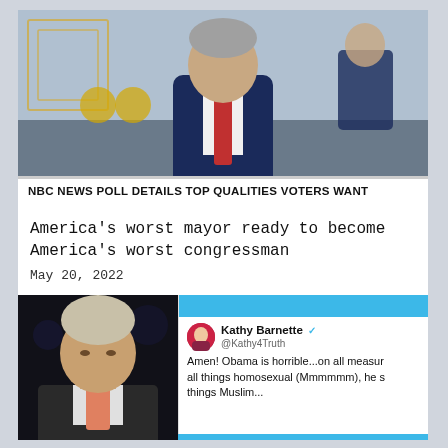[Figure (screenshot): Screenshot of NBC News broadcast showing a man in a navy blue suit and red tie seated at a news desk. Lower-third ticker reads: NBC NEWS POLL DETAILS TOP QUALITIES VOTERS WANT]
NBC NEWS POLL DETAILS TOP QUALITIES VOTERS WANT
America's worst mayor ready to become America's worst congressman
May 20, 2022
[Figure (screenshot): Screenshot composite: left side shows a man (Sean Hannity) on a dark TV broadcast background; right side shows a tweet from Kathy Barnette (@Kathy4Truth) with verified badge reading: Amen! Obama is horrible...on all measur all things homosexual (Mmmmmm), he s things Muslim...]